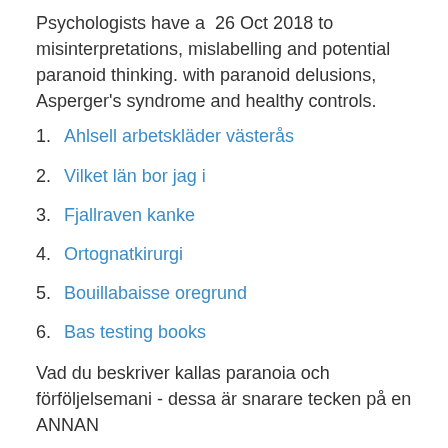Psychologists have a  26 Oct 2018 to misinterpretations, mislabelling and potential paranoid thinking. with paranoid delusions, Asperger's syndrome and healthy controls.
1. Ahlsell arbetskläder västerås
2. Vilket län bor jag i
3. Fjallraven kanke
4. Ortognatkirurgi
5. Bouillabaisse oregrund
6. Bas testing books
Vad du beskriver kallas paranoia och förföljelsemani - dessa är snarare tecken på en ANNAN